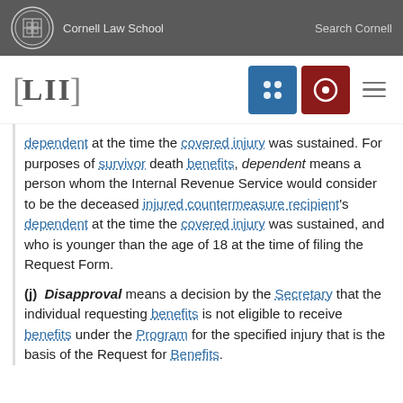Cornell Law School | Search Cornell
[Figure (logo): LII Legal Information Institute logo with Cornell Law School navigation bar]
dependent at the time the covered injury was sustained. For purposes of survivor death benefits, dependent means a person whom the Internal Revenue Service would consider to be the deceased injured countermeasure recipient's dependent at the time the covered injury was sustained, and who is younger than the age of 18 at the time of filing the Request Form.
(j) Disapproval means a decision by the Secretary that the individual requesting benefits is not eligible to receive benefits under the Program for the specified injury that is the basis of the Request for Benefits.